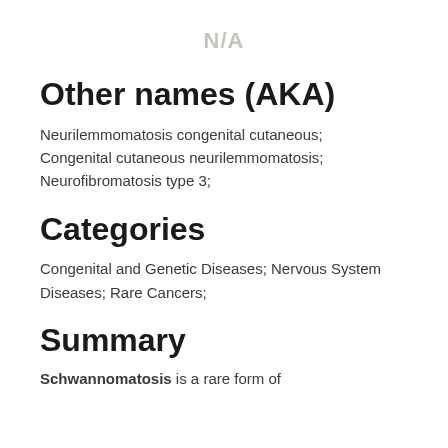N/A
Other names (AKA)
Neurilemmomatosis congenital cutaneous; Congenital cutaneous neurilemmomatosis; Neurofibromatosis type 3;
Categories
Congenital and Genetic Diseases; Nervous System Diseases; Rare Cancers;
Summary
Schwannomatosis is a rare form of